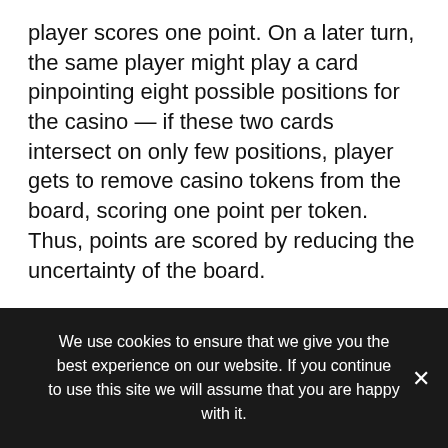player scores one point. On a later turn, the same player might play a card pinpointing eight possible positions for the casino — if these two cards intersect on only few positions, player gets to remove casino tokens from the board, scoring one point per token. Thus, points are scored by reducing the uncertainty of the board.
Hopefully my explanation makes sense. The game is hard to explain, but fun to play. There can be nasty lucky swings when someone gets good cards, but that's balanced by the swift play time.
We use cookies to ensure that we give you the best experience on our website. If you continue to use this site we will assume that you are happy with it.